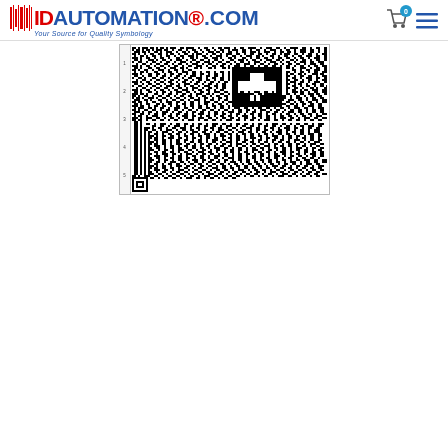IDAutomation.com — Your Source for Quality Symbology
[Figure (other): A Swiss QR code barcode image with a cross symbol, generated with IDAutomation Crystal Reports Generator. Ruler visible on left side.]
Generated with the IDAutomation Crystal Reports Generator
https://www.barcodefaq.com/2d/qr-code/swiss-qr-bill-generators/
If more options are needed for sizing, download and install the IDAutomation 2D S font, change the font of the object to "IDAutomation 2D S" and use the point size of 4.5.